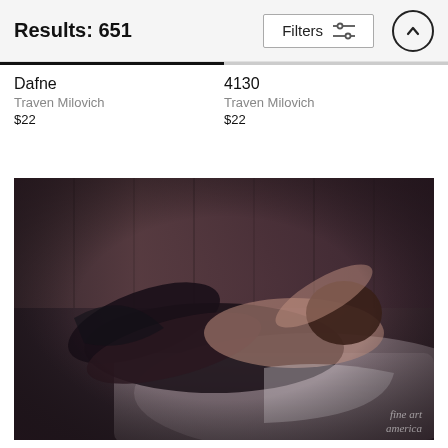Results: 651  Filters
Dafne
Traven Milovich
$22
4130
Traven Milovich
$22
[Figure (photo): A figure-art photograph of a person reclining on a bed against a wooden panel background, wearing dark lingerie and stockings. Fine Art America watermark in the lower right corner.]